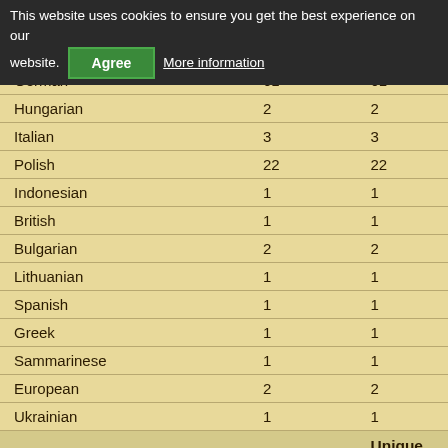| Origin | Pieces | Unique xWGs |
| --- | --- | --- |
| Dutch |  |  |
| Estonian |  | 2 |
| French |  |  |
| German | 61 | 61 |
| Hungarian | 2 | 2 |
| Italian | 3 | 3 |
| Polish | 22 | 22 |
| Indonesian | 1 | 1 |
| British | 1 | 1 |
| Bulgarian | 2 | 2 |
| Lithuanian | 1 | 1 |
| Spanish | 1 | 1 |
| Greek | 1 | 1 |
| Sammarinese | 1 | 1 |
| European | 2 | 2 |
| Ukrainian | 1 | 1 |
| Origin | Pieces | Unique xWGs |
| Personal | 1228 | 1228 |
| Event | 215 | 215 |
| Caches | 25 | 25 |
| Limited | 64 | 64 |
| Extra personal | 13 | 13 |
This website uses cookies to ensure you get the best experience on our website. Agree More information